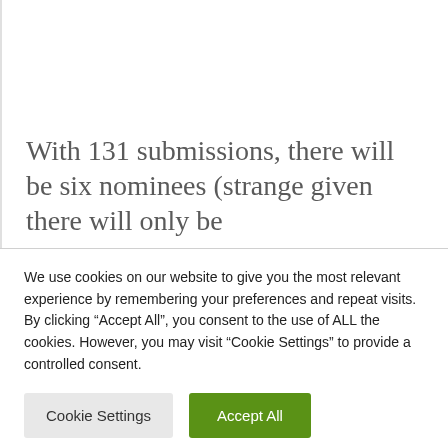With 131 submissions, there will be six nominees (strange given there will only be
We use cookies on our website to give you the most relevant experience by remembering your preferences and repeat visits. By clicking “Accept All”, you consent to the use of ALL the cookies. However, you may visit “Cookie Settings” to provide a controlled consent.